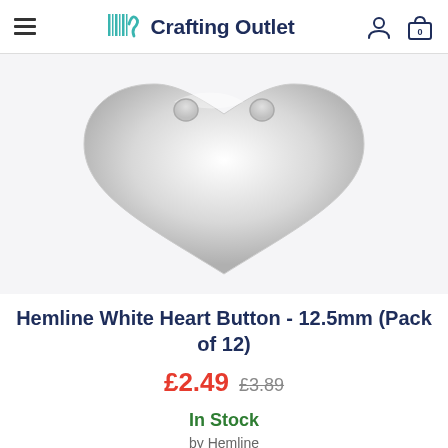Crafting Outlet
[Figure (photo): Close-up photo of a white heart-shaped button against a white/light grey background, showing two holes at the top]
Hemline White Heart Button - 12.5mm (Pack of 12)
£2.49 £3.89
In Stock
by Hemline